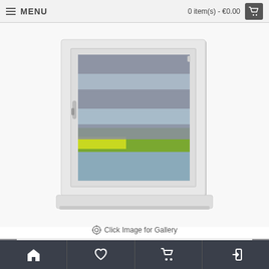MENU | 0 item(s) - €0.00
[Figure (photo): White PVC window frame with a zebra/vision blind partially open showing alternating grey opaque and sheer bands, with a scenic outdoor view through the sheer bands — green field, lake, blue sky.]
Click Image for Gallery
[Figure (photo): Thumbnail 1: Zebra blind with NEW badge]
[Figure (photo): Thumbnail 2: Blackout roller blind with NEW badge]
[Figure (photo): Thumbnail 3: Frame/cassette colour options chart]
Home | Wishlist | Cart | Login